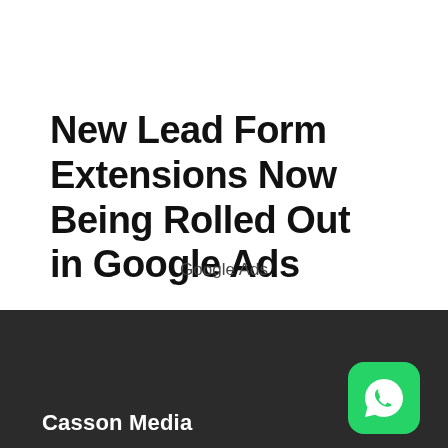New Lead Form Extensions Now Being Rolled Out in Google Ads
Google Ads
Casson Media